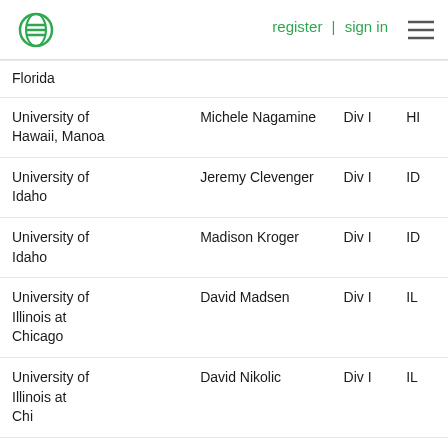register | sign in
| Institution | Name | Division | State |
| --- | --- | --- | --- |
| Florida |  |  |  |
| University of Hawaii, Manoa | Michele Nagamine | Div I | HI |
| University of Idaho | Jeremy Clevenger | Div I | ID |
| University of Idaho | Madison Kroger | Div I | ID |
| University of Illinois at Chicago | David Madsen | Div I | IL |
| University of Illinois at Chicago | David Nikolic | Div I | IL |